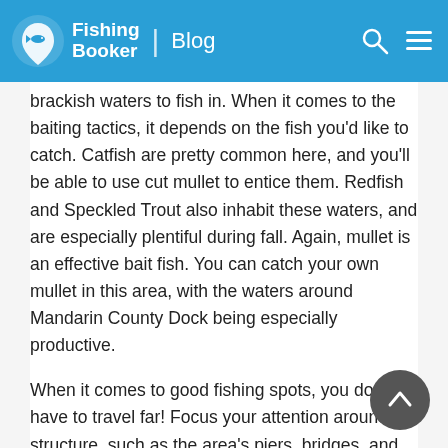FishingBooker | Blog
brackish waters to fish in. When it comes to the baiting tactics, it depends on the fish you’d like to catch. Catfish are pretty common here, and you’ll be able to use cut mullet to entice them. Redfish and Speckled Trout also inhabit these waters, and are especially plentiful during fall. Again, mullet is an effective bait fish. You can catch your own mullet in this area, with the waters around Mandarin County Dock being especially productive.
When it comes to good fishing spots, you don’t have to travel far! Focus your attention around structure, such as the area’s piers, bridges, and docks. You have plenty of fishing